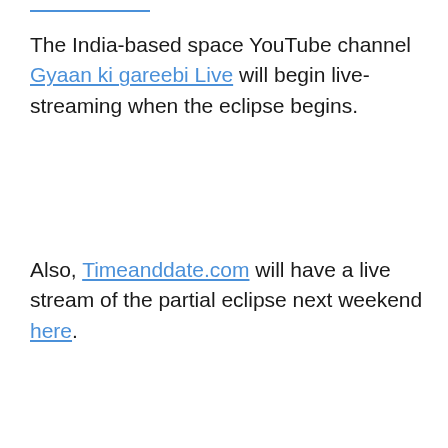The India-based space YouTube channel Gyaan ki gareebi Live will begin live-streaming when the eclipse begins.
Also, Timeanddate.com will have a live stream of the partial eclipse next weekend here.